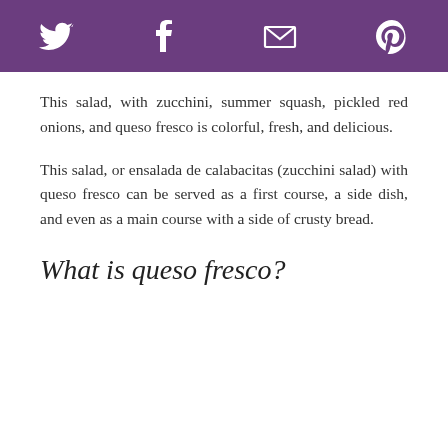[Figure (other): Purple header bar with social media icons: Twitter bird, Facebook f, email envelope, Pinterest p]
This salad, with zucchini, summer squash, pickled red onions, and queso fresco is colorful, fresh, and delicious.
This salad, or ensalada de calabacitas (zucchini salad) with queso fresco can be served as a first course, a side dish, and even as a main course with a side of crusty bread.
What is queso fresco?